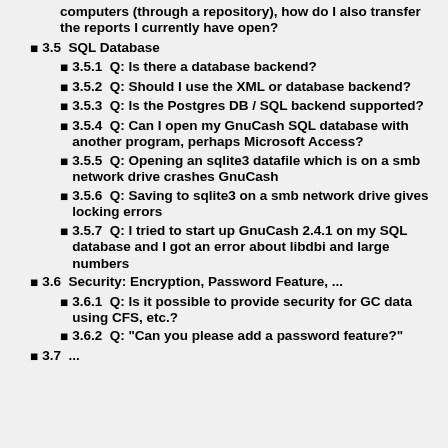computers (through a repository), how do I also transfer the reports I currently have open?
3.5  SQL Database
3.5.1  Q: Is there a database backend?
3.5.2  Q: Should I use the XML or database backend?
3.5.3  Q: Is the Postgres DB / SQL backend supported?
3.5.4  Q: Can I open my GnuCash SQL database with another program, perhaps Microsoft Access?
3.5.5  Q: Opening an sqlite3 datafile which is on a smb network drive crashes GnuCash
3.5.6  Q: Saving to sqlite3 on a smb network drive gives locking errors
3.5.7  Q: I tried to start up GnuCash 2.4.1 on my SQL database and I got an error about libdbi and large numbers
3.6  Security: Encryption, Password Feature, ...
3.6.1  Q: Is it possible to provide security for GC data using CFS, etc.?
3.6.2  Q: "Can you please add a password feature?"
3.7  ...